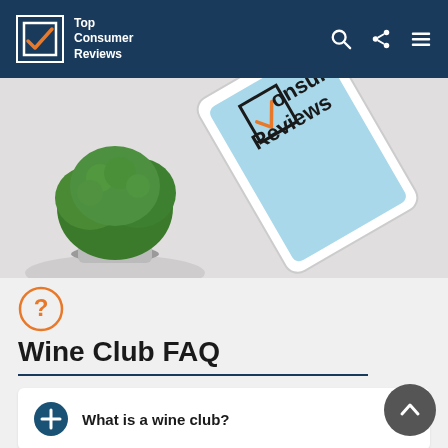Top Consumer Reviews
[Figure (photo): Hero image showing a green potted plant on the left and a tablet device displaying Top Consumer Reviews logo on the right, against a light gray background]
[Figure (illustration): Orange circle with question mark icon]
Wine Club FAQ
What is a wine club?
Where does the wine come from?